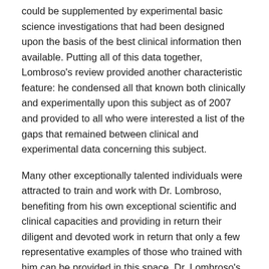could be supplemented by experimental basic science investigations that had been designed upon the basis of the best clinical information then available. Putting all of this data together, Lombroso's review provided another characteristic feature: he condensed all that known both clinically and experimentally upon this subject as of 2007 and provided to all who were interested a list of the gaps that remained between clinical and experimental data concerning this subject.
Many other exceptionally talented individuals were attracted to train and work with Dr. Lombroso, benefiting from his own exceptional scientific and clinical capacities and providing in return their diligent and devoted work in return that only a few representative examples of those who trained with him can be provided in this space. Dr. Lombroso's interest in distinguishing normal from abnormal complex...